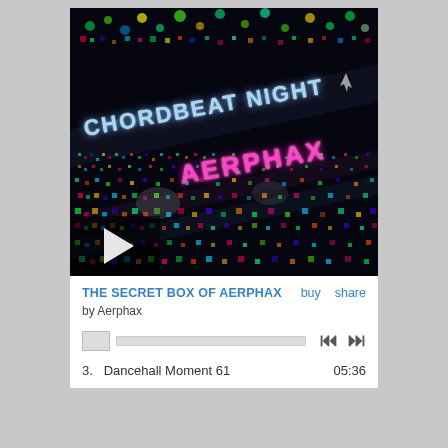[Figure (illustration): Album art for 'Chordbeat Night' by Aerphax. Dark background with colorful dot matrix / LED-style lights pattern, diagonal stripe overlays, text 'CHORDBEAT NIGHT' in light blue and 'AERPHAX' in pink/magenta, play button overlay at bottom left.]
THE SECRET BOX OF AERPHAX
by Aerphax
buy   share
3.   Dancehall Moment 61   05:36